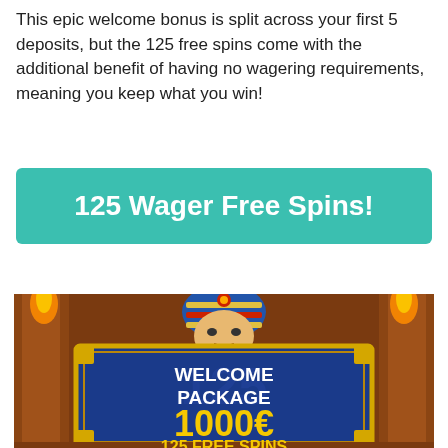This epic welcome bonus is split across your first 5 deposits, but the 125 free spins come with the additional benefit of having no wagering requirements, meaning you keep what you win!
[Figure (other): Teal/green rounded rectangle button with white bold text reading '125 Wager Free Spins!']
[Figure (screenshot): Casino game promotional image showing an Egyptian-themed slot game character (pharaoh mask) at top, with a blue decorative panel showing 'WELCOME PACKAGE' in white bold text and '1000€' in large yellow text below, with partial text '125 FREE SPINS' cut off at bottom. Golden ornamental border frames the panel.]